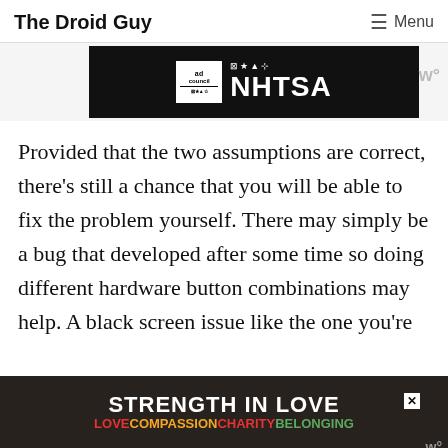The Droid Guy  ☰ Menu
[Figure (advertisement): Black banner advertisement showing Ad Council and NHTSA logos in white on black background]
Provided that the two assumptions are correct, there's still a chance that you will be able to fix the problem yourself. There may simply be a bug that developed after some time so doing different hardware button combinations may help. A black screen issue like the one you're
[Figure (advertisement): STRENGTH IN LOVE advertisement with rainbow colored text: LOVE COMPASSION CHARITY BELONGING on dark background]